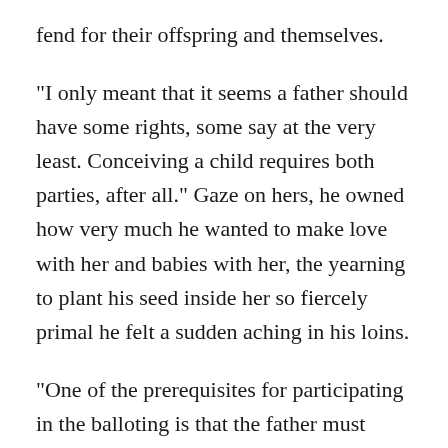fend for their offspring and themselves.
“I only meant that it seems a father should have some rights, some say at the very least. Conceiving a child requires both parties, after all.” Gaze on hers, he owned how very much he wanted to make love with her and babies with her, the yearning to plant his seed inside her so fiercely primal he felt a sudden aching in his loins.
“One of the prerequisites for participating in the balloting is that the father must have deserted both mother and child. Deserted, Robert. I’d think you of all people would understand that.”
He swallowed against the pain pushing a path up his throat. “I didn’t desert you.”